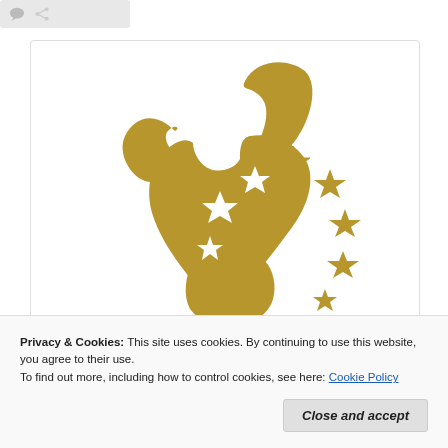[Figure (logo): Golden bull/longhorn silhouette logo with white stars arranged in an arc pattern, on white background with light border]
Privacy & Cookies: This site uses cookies. By continuing to use this website, you agree to their use.
To find out more, including how to control cookies, see here: Cookie Policy
Close and accept